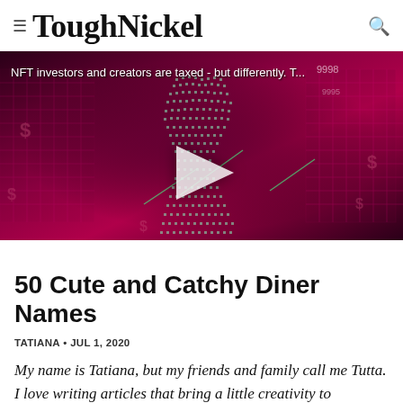ToughNickel
[Figure (screenshot): Video thumbnail with dark red/magenta digital art background showing a hooded figure made of green digital dots/pixels. Text overlay reads: NFT investors and creators are taxed - but differently. T... A play button triangle is centered on the image. Numbers 9998 visible in top right corner.]
50 Cute and Catchy Diner Names
TATIANA • JUL 1, 2020
My name is Tatiana, but my friends and family call me Tutta. I love writing articles that bring a little creativity to everyday life.